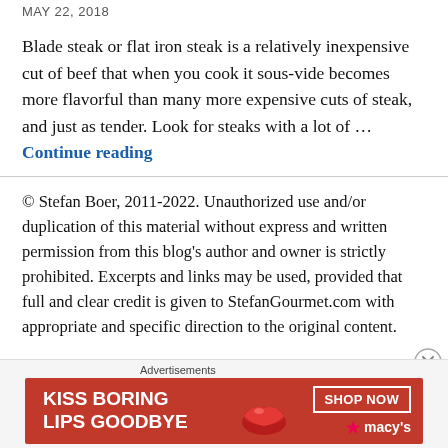MAY 22, 2018
Blade steak or flat iron steak is a relatively inexpensive cut of beef that when you cook it sous-vide becomes more flavorful than many more expensive cuts of steak, and just as tender. Look for steaks with a lot of … Continue reading
© Stefan Boer, 2011-2022. Unauthorized use and/or duplication of this material without express and written permission from this blog's author and owner is strictly prohibited. Excerpts and links may be used, provided that full and clear credit is given to StefanGourmet.com with appropriate and specific direction to the original content.
[Figure (infographic): Macy's advertisement banner: 'KISS BORING LIPS GOODBYE' with SHOP NOW button and Macy's star logo on red background]